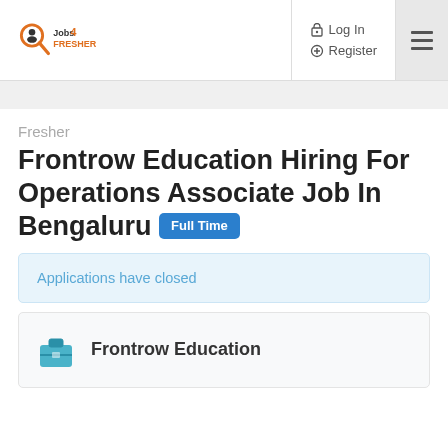[Figure (logo): Jobs4Fresher logo with magnifying glass icon and orange/dark text]
Log In
Register
Fresher
Frontrow Education Hiring For Operations Associate Job In Bengaluru Full Time
Applications have closed
Frontrow Education